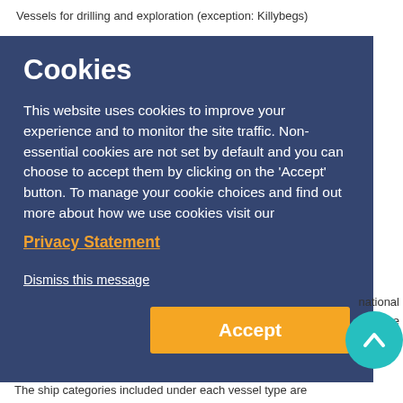Vessels for drilling and exploration (exception: Killybegs)
[Figure (screenshot): Cookie consent overlay with dark blue background, containing title 'Cookies', body text about cookie usage, Privacy Statement link, Dismiss this message link, and Accept button in orange.]
national
re
The ship categories included under each vessel type are